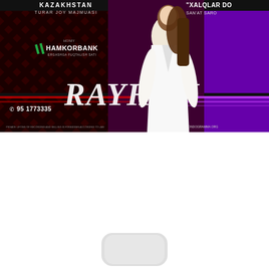[Figure (infographic): Advertisement banner for a Rayhon concert event. Left section has dark red/black background with text: KAZAKHSTAN TURAR JOY MAJMUASI, HONIY HAMKORBANK ERGASHGA FUTSALISH SATI, phone number 95 1773335. Center shows a woman in white blazer standing. Center-bottom has large RAYHON text logo. Right section has purple background with partial text XALQLAR DO, SAN'AT SARO, FONDOGRAMMA ORG.]